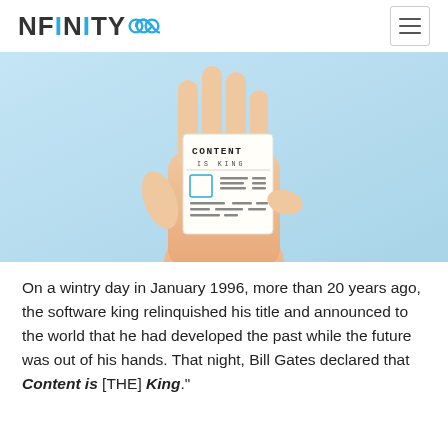NFINITY∞
[Figure (photo): A hand holding up a small card that reads 'CONTENT IS KING' with a mock newspaper/document layout below the text, against a light blue background.]
On a wintry day in January 1996, more than 20 years ago, the software king relinquished his title and announced to the world that he had developed the past while the future was out of his hands. That night, Bill Gates declared that Content is [THE] King."